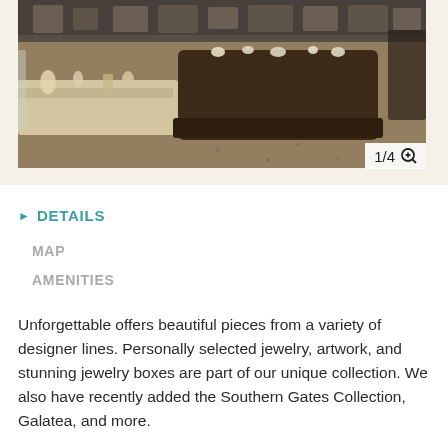[Figure (photo): Interior of a jewelry store showing display cases with jewelry items on light-colored counters, dark wood display fixtures, and tiled floor]
1/4
DETAILS
MAP
AMENITIES
Unforgettable offers beautiful pieces from a variety of designer lines. Personally selected jewelry, artwork, and stunning jewelry boxes are part of our unique collection. We also have recently added the Southern Gates Collection, Galatea, and more.